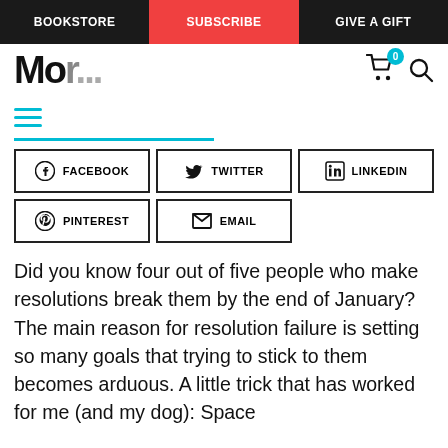BOOKSTORE | SUBSCRIBE | GIVE A GIFT
Mo...
[Figure (screenshot): Website navigation bar with hamburger menu icon, shopping cart with badge '0', and search icon]
[Figure (infographic): Social share buttons: FACEBOOK, TWITTER, LINKEDIN, PINTEREST, EMAIL]
Did you know four out of five people who make resolutions break them by the end of January? The main reason for resolution failure is setting so many goals that trying to stick to them becomes arduous. A little trick that has worked for me (and my dog): Space